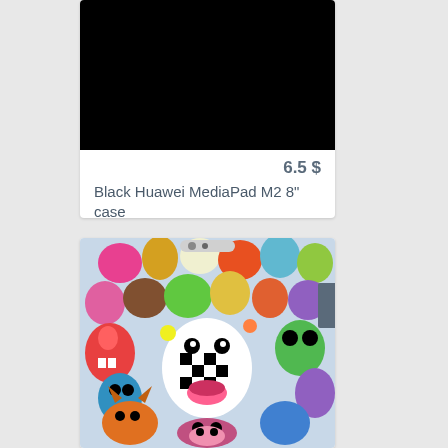[Figure (photo): Black tablet case product image on white card background]
6.5 $
Black Huawei MediaPad M2 8" case
[Figure (photo): Colorful cartoon monster doodle art phone/tablet case product image]